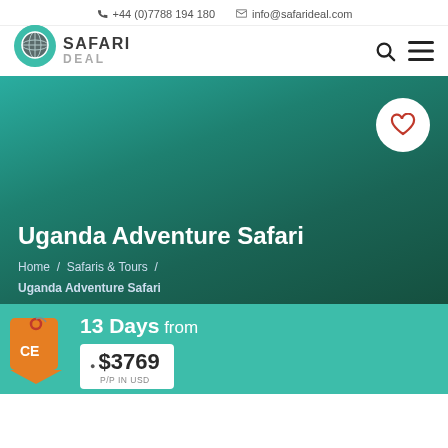+44 (0)7788 194 180   info@safarideal.com
[Figure (logo): Safari Deal logo: globe icon in teal map-pin shape with text SAFARI DEAL]
Uganda Adventure Safari
Home / Safaris & Tours / Uganda Adventure Safari
13 Days from
$3769 P/P IN USD